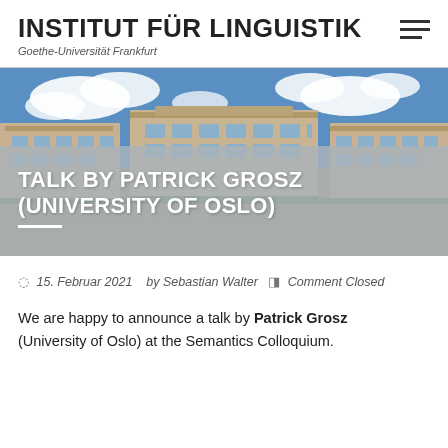INSTITUT FÜR LINGUISTIK — Goethe-Universität Frankfurt
[Figure (photo): Exterior photograph of a large stone university building with blue sky and clouds; overlaid with white bold text reading TALK BY PATRICK GROSZ (UNIVERSITY OF OSLO) with a white underline bar, on a gray semi-transparent overlay]
15. Februar 2021  by Sebastian Walter  Comment Closed
We are happy to announce a talk by Patrick Grosz (University of Oslo) at the Semantics Colloquium.